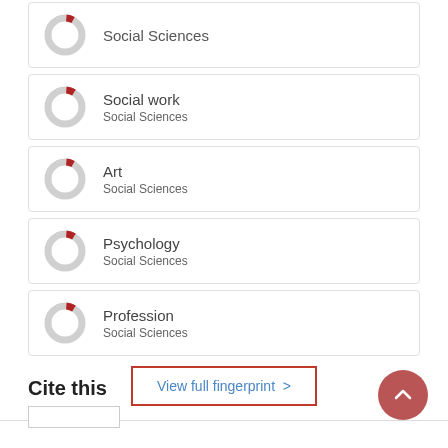[Figure (donut-chart): Donut chart showing small red segment, label: Social Sciences]
[Figure (donut-chart): Donut chart with small red segment]
[Figure (donut-chart): Donut chart with small red segment]
[Figure (donut-chart): Donut chart with small red segment]
[Figure (donut-chart): Donut chart with small red segment]
View full fingerprint >
Cite this